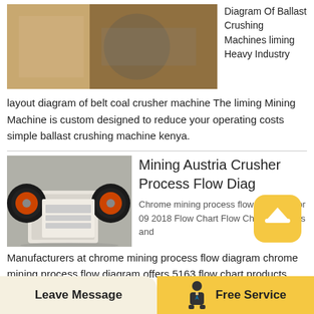[Figure (photo): Industrial machinery — likely ballast crushing machine parts, yellowish/orange tones]
Diagram Of Ballast Crushing Machines liming Heavy Industry
layout diagram of belt coal crusher machine The liming Mining Machine is custom designed to reduce your operating costs simple ballast crushing machine kenya.
[Figure (photo): White jaw crusher machine with large orange-rimmed flywheel, photographed outdoors]
Mining Austria Crusher Process Flow Diag
Chrome mining process flow diagram Apr 09 2018 Flow Chart Flow Chart Suppliers and Manufacturers at chrome mining process flow diagram chrome mining process flow diagram offers 5163 flow chart products About 31 of these are crusher 9 are dry mortar machines and 1 are mineral separator A wide variety of flow
Leave Message | Free Service